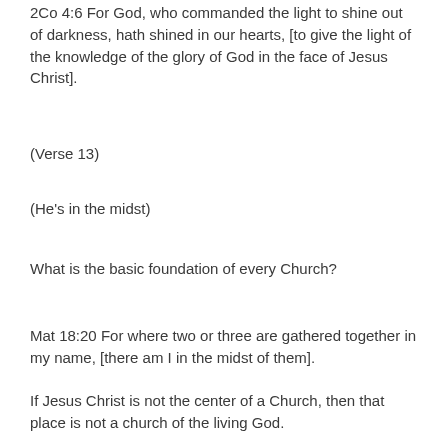2Co 4:6 For God, who commanded the light to shine out of darkness, hath shined in our hearts, [to give the light of the knowledge of the glory of God in the face of Jesus Christ].
(Verse 13)
(He's in the midst)
What is the basic foundation of every Church?
Mat 18:20 For where two or three are gathered together in my name, [there am I in the midst of them].
If Jesus Christ is not the center of a Church, then that place is not a church of the living God.